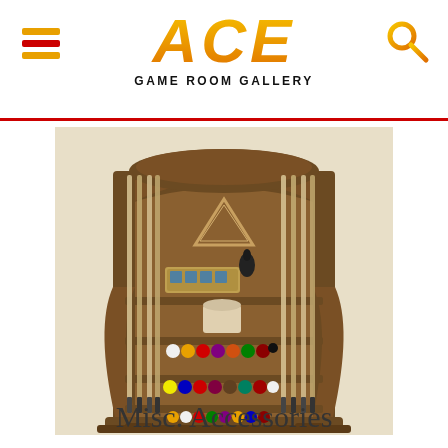ACE GAME ROOM GALLERY
[Figure (photo): Wooden billiard cue rack mounted on wall, holding multiple pool cues, a triangle rack, billiard balls on shelves, and accessories. Dark walnut finish with decorative arched top.]
Misc. Accessories